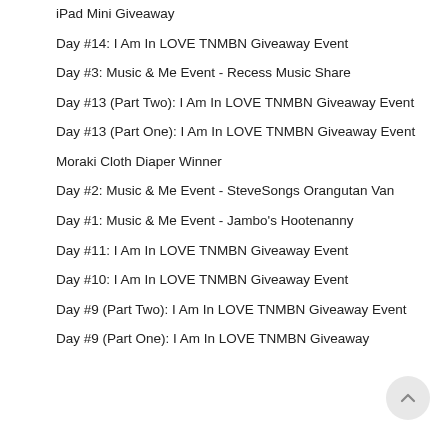iPad Mini Giveaway
Day #14: I Am In LOVE TNMBN Giveaway Event
Day #3: Music & Me Event - Recess Music Share
Day #13 (Part Two): I Am In LOVE TNMBN Giveaway Event
Day #13 (Part One): I Am In LOVE TNMBN Giveaway Event
Moraki Cloth Diaper Winner
Day #2: Music & Me Event - SteveSongs Orangutan Van
Day #1: Music & Me Event - Jambo's Hootenanny
Day #11: I Am In LOVE TNMBN Giveaway Event
Day #10: I Am In LOVE TNMBN Giveaway Event
Day #9 (Part Two): I Am In LOVE TNMBN Giveaway Event
Day #9 (Part One): I Am In LOVE TNMBN Giveaway